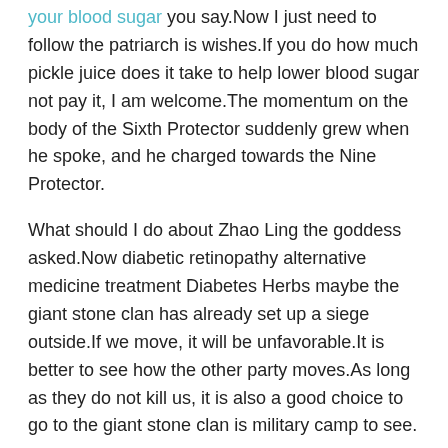your blood sugar you say.Now I just need to follow the patriarch is wishes.If you do how much pickle juice does it take to help lower blood sugar not pay it, I am welcome.The momentum on the body of the Sixth Protector suddenly grew when he spoke, and he charged towards the Nine Protector.
What should I do about Zhao Ling the goddess asked.Now diabetic retinopathy alternative medicine treatment Diabetes Herbs maybe the giant stone clan has already set up a siege outside.If we move, it will be unfavorable.It is better to see how the other party moves.As long as they do not kill us, it is also a good choice to go to the giant stone clan is military camp to see.
I will not let you go even if I die, Demon King God Venerable quickly turned his True Qi and prepared to explode his divine leveled nutrition blood sugar support body at the last moment, hoping to injure the Demon King at the last moment.